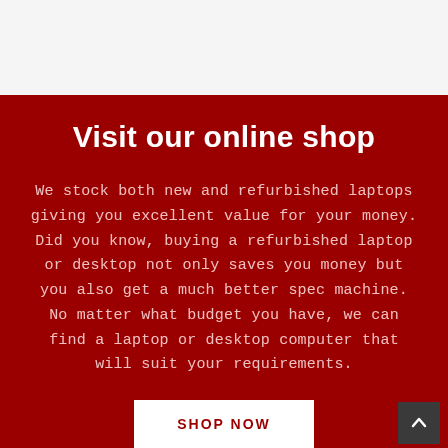Visit our online shop
We stock both new and refurbished laptops giving you excellent value for your money. Did you know, buying a refurbished laptop or desktop not only saves you money but you also get a much better spec machine. No matter what budget you have, we can find a laptop or desktop computer that will suit your requirements.
SHOP NOW